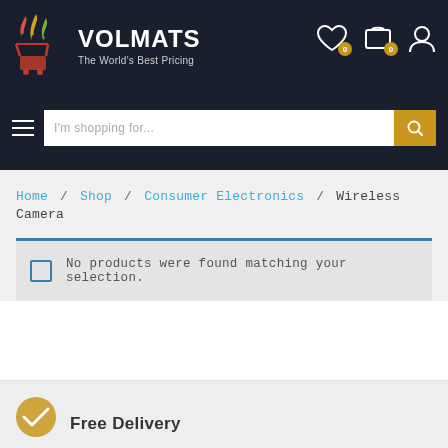VOLMATS – The World's Best Pricing
I'm shopping for...
Home / Shop / Consumer Electronics / Wireless Camera
No products were found matching your selection.
Free Delivery